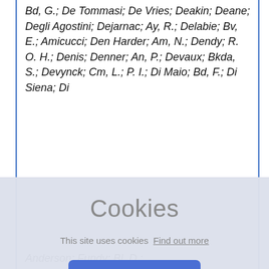Bd, G.; De Tommasi; De Vries; Deakin; Deane; Degli Agostini; Dejarnac; Ay, R.; Delabie; Bv, E.; Amicucci; Den Harder; Am, N.; Dendy; R. O. H.; Denis; Denner; An, P.; Devaux; Bkda, S.; Devynck; Cm, L.; P. I.; Di Maio; Bd, F.; Di Siena; Di
[Figure (screenshot): Cookie consent overlay with title 'Cookies', message 'This site uses cookies Find out more', and an OK! button.]
Anderson; Fundy; Bl, D.;